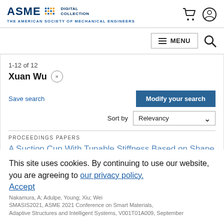ASME DIGITAL COLLECTION — THE AMERICAN SOCIETY OF MECHANICAL ENGINEERS
1-12 of 12
Xuan Wu ×
Save search
Modify your search
Sort by Relevancy
PROCEEDINGS PAPERS
A Suction Cup With Tunable Stiffness Based on Shape
This site uses cookies. By continuing to use our website, you are agreeing to our privacy policy. Accept